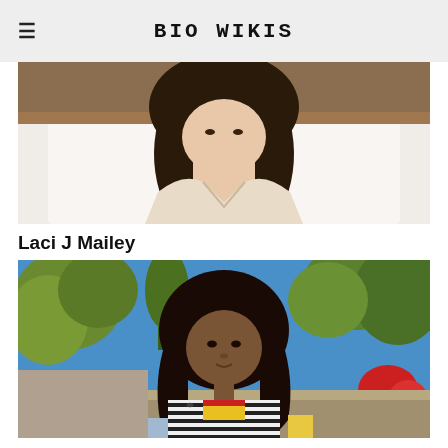BIO WIKIS
[Figure (photo): Photo of a woman with long dark hair wearing a cream/beige knit sweater, seated in front of a white bed/pillow background]
Laci J Mailey
[Figure (photo): Photo of a woman with long dark wavy hair wearing a striped and colorful top, seated outdoors with trees and blue sky in background]